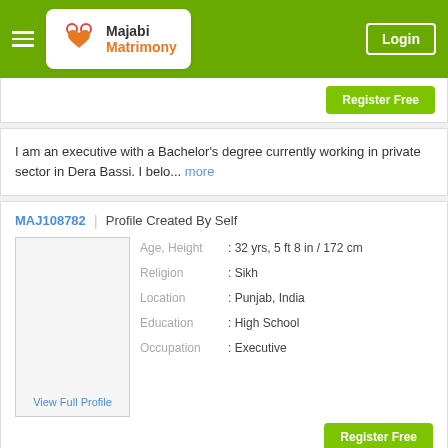Majabi Matrimony | Login
Register Free
I am an executive with a Bachelor's degree currently working in private sector in Dera Bassi. I belo... more
MAJ108782 | Profile Created By Self
Age, Height : 32 yrs, 5 ft 8 in / 172 cm
Religion : Sikh
Location : Punjab, India
Education : High School
Occupation : Executive
View Full Profile
Register Free
I'm successfully employed as a Executive in a private firm. I belong to the Sikh - Majabi caste and ... more